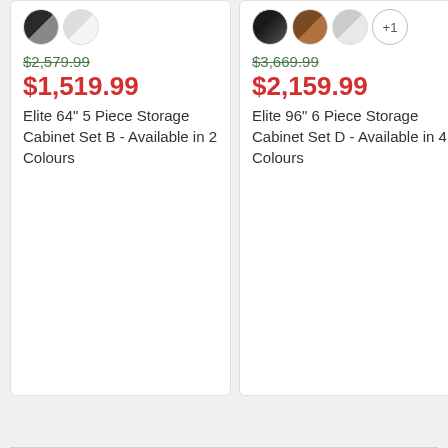[Figure (other): Product card for Elite 64" 5 Piece Storage Cabinet Set B - Available in 2 Colours. Shows two color swatches, original price $2,579.99 (strikethrough), sale price $1,519.99 in red.]
[Figure (other): Product card for Elite 96" 6 Piece Storage Cabinet Set D - Available in 4 Colours. Shows three color swatches and a +1 badge, original price $3,669.99 (strikethrough), sale price $2,159.99 in red.]